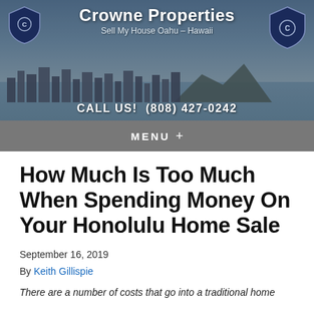[Figure (other): Website header banner for Crowne Properties showing Honolulu cityscape with Diamond Head mountain, blue sky and ocean in background. Contains company logo shields on left and right, company name 'Crowne Properties', tagline 'Sell My House Oahu – Hawaii', and phone number 'CALL US! (808) 427-0242']
MENU +
How Much Is Too Much When Spending Money On Your Honolulu Home Sale
September 16, 2019
By Keith Gillispie
There are a number of costs that go into a traditional home